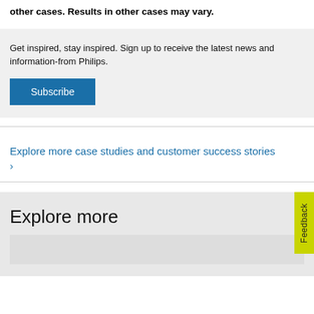other cases. Results in other cases may vary.
Get inspired, stay inspired. Sign up to receive the latest news and information-from Philips.
Subscribe
Explore more case studies and customer success stories ›
Explore more